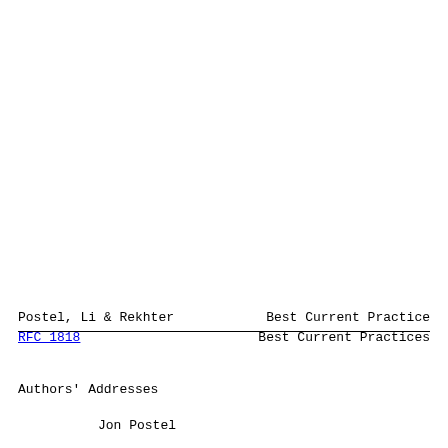Postel, Li & Rekhter     Best Current Practice
RFC 1818                      Best Current Practices
Authors' Addresses
Jon Postel